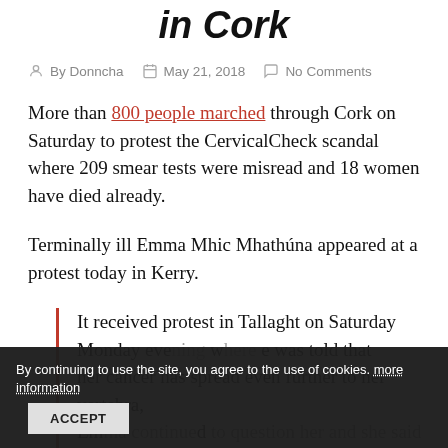in Cork
By Donncha  May 21, 2018  No Comments
More than 800 people marched through Cork on Saturday to protest the CervicalCheck scandal where 209 smear tests were misread and 18 women have died already.
Terminally ill Emma Mhic Mhathúna appeared at a protest today in Kerry.
It received protest in Tallaght on Saturday... Monday evening where she was told that her cancer has spread even further to her vertebra,
By continuing to use the site, you agree to the use of cookies. more information  ACCEPT